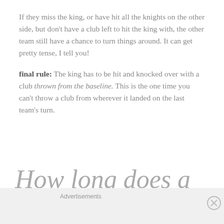If they miss the king, or have hit all the knights on the other side, but don't have a club left to hit the king with, the other team still have a chance to turn things around. It can get pretty tense, I tell you!
final rule: The king has to be hit and knocked over with a club thrown from the baseline. This is the one time you can't throw a club from wherever it landed on the last team's turn.
How long does a Kubb game last?
Advertisements